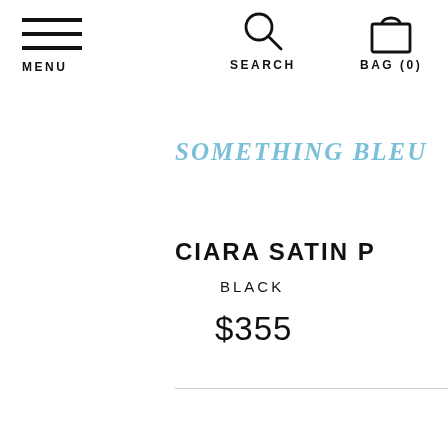MENU
SEARCH
BAG (0)
SOMETHING BLEU
CIARA SATIN P
BLACK
$355